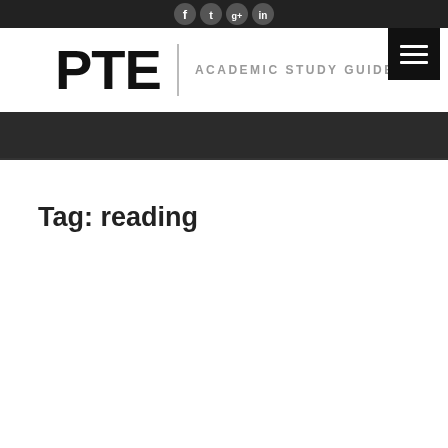PTE | ACADEMIC STUDY GUIDE
Tag: reading